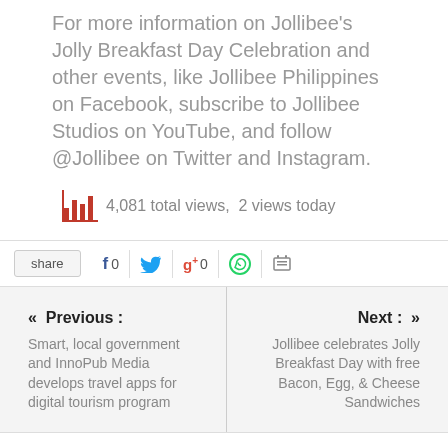For more information on Jollibee's Jolly Breakfast Day Celebration and other events, like Jollibee Philippines on Facebook, subscribe to Jollibee Studios on YouTube, and follow @Jollibee on Twitter and Instagram.
4,081 total views,  2 views today
share  f 0  [Twitter]  g+ 0  [WhatsApp]  [Print]
« Previous : Smart, local government and InnoPub Media develops travel apps for digital tourism program
Next : » Jollibee celebrates Jolly Breakfast Day with free Bacon, Egg, & Cheese Sandwiches
About The Author